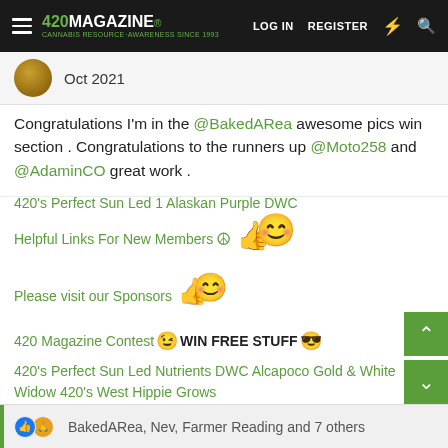420 MAGAZINE | LOG IN | REGISTER
Oct 2021
Congratulations I'm in the @BakedARea awesome pics win section . Congratulations to the runners up @Moto258 and @AdaminCO great work .
420's Perfect Sun Led 1 Alaskan Purple DWC
Helpful Links For New Members ☮ 👍😊
Please visit our Sponsors 👍😊
420 Magazine Contest 😉 WIN FREE STUFF 😎
420's Perfect Sun Led Nutrients DWC Alcapoco Gold & White Widow 420's West Hippie Grows
BakedARea, Nev, Farmer Reading and 7 others